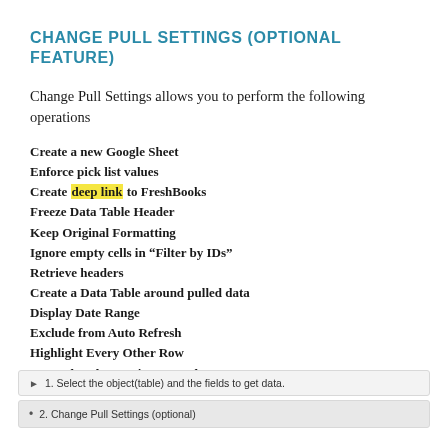CHANGE PULL SETTINGS (OPTIONAL FEATURE)
Change Pull Settings allows you to perform the following operations
Create a new Google Sheet
Enforce pick list values
Create deep link to FreshBooks
Freeze Data Table Header
Keep Original Formatting
Ignore empty cells in “Filter by IDs”
Retrieve headers
Create a Data Table around pulled data
Display Date Range
Exclude from Auto Refresh
Highlight Every Other Row
Append to the Previous Template
1. Select the object(table) and the fields to get data.
2. Change Pull Settings (optional)